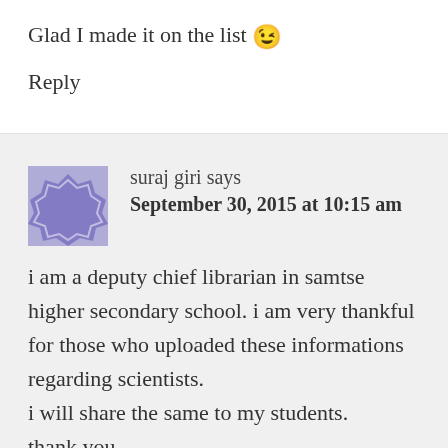Glad I made it on the list 😉
Reply
suraj giri says
September 30, 2015 at 10:15 am
i am a deputy chief librarian in samtse higher secondary school. i am very thankful for those who uploaded these informations regarding scientists.
i will share the same to my students.
thank you.